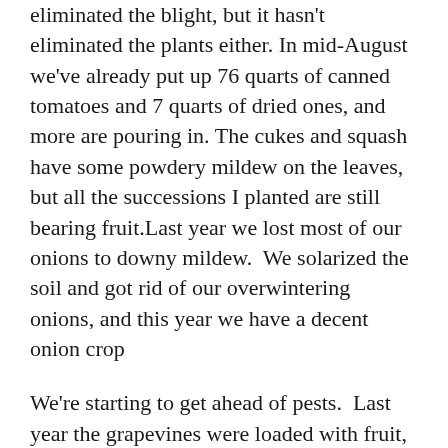eliminated the blight, but it hasn't eliminated the plants either. In mid-August we've already put up 76 quarts of canned tomatoes and 7 quarts of dried ones, and more are pouring in. The cukes and squash have some powdery mildew on the leaves, but all the successions I planted are still bearing fruit.Last year we lost most of our onions to downy mildew.  We solarized the soil and got rid of our overwintering onions, and this year we have a decent onion crop
We're starting to get ahead of pests.  Last year the grapevines were loaded with fruit, but the birds ate some, and after I put netting up to deter the birds raccoons tore the netting down and ate all the rest of the fruit. This year Zach and Natania (a WWOOFer) built a chicken-wire enclosure around the arbor. The fridge is full of small but sweet seedless grapes, and the seeded grapes will